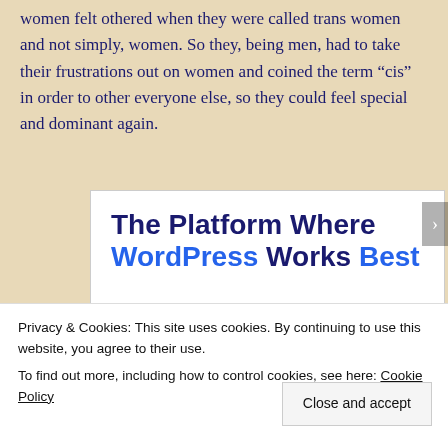women felt othered when they were called trans women and not simply, women. So they, being men, had to take their frustrations out on women and coined the term “cis” in order to other everyone else, so they could feel special and dominant again.
[Figure (other): Advertisement box for a WordPress hosting platform. Large bold text reads: 'The Platform Where WordPress Works Best' with 'WordPress' and 'Best' in blue. A blue 'SEE PRICING' button is in the lower right corner.]
Privacy & Cookies: This site uses cookies. By continuing to use this website, you agree to their use.
To find out more, including how to control cookies, see here: Cookie Policy